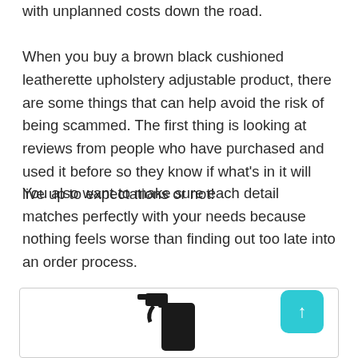with unplanned costs down the road. When you buy a brown black cushioned leatherette upholstery adjustable product, there are some things that can help avoid the risk of being scammed. The first thing is looking at reviews from people who have purchased and used it before so they know if what's in it will live up to expectations or not!
You also want to make sure each detail matches perfectly with your needs because nothing feels worse than finding out too late into an order process.
[Figure (photo): A black spray bottle partially visible at the bottom of a white box with a teal/cyan scroll-to-top button in the lower right corner.]